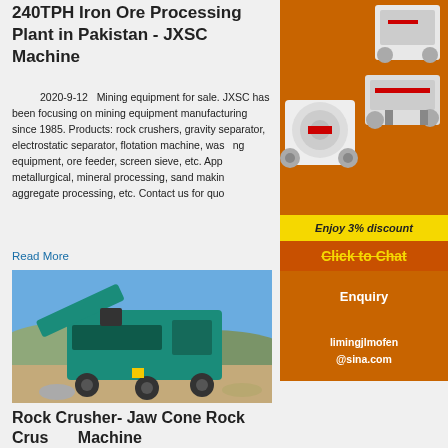240TPH Iron Ore Processing Plant in Pakistan - JXSC Machine
2020-9-12   Mining equipment for sale. JXSC has been focusing on mining equipment manufacturing since 1985. Products: rock crushers, gravity separator, electrostatic separator, flotation machine, washing equipment, ore feeder, screen sieve, etc. Applications: metallurgical, mineral processing, sand making, aggregate processing, etc. Contact us for quote.
Read More
[Figure (photo): A teal/green mobile rock crusher machine operating at a mining/quarry site with hills in the background under a blue sky]
Rock Crusher- Jaw Cone Rock Crusher Machine
[Figure (photo): Sidebar advertisement showing mining equipment machines (crushers) on orange background with 'Enjoy 3% discount' and 'Click to Chat' banner, Enquiry section, and email limingjlmofen@sina.com]